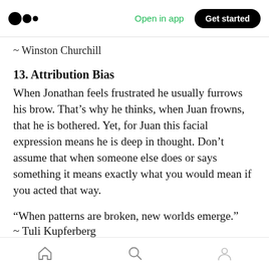Medium logo | Open in app | Get started
~ Winston Churchill
13. Attribution Bias
When Jonathan feels frustrated he usually furrows his brow. That’s why he thinks, when Juan frowns, that he is bothered. Yet, for Juan this facial expression means he is deep in thought. Don’t assume that when someone else does or says something it means exactly what you would mean if you acted that way.
“When patterns are broken, new worlds emerge.”
~ Tuli Kupferberg
Home | Search | Profile